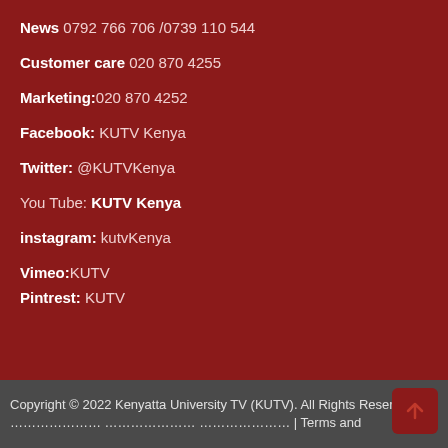News 0792 766 706 /0739 110 544
Customer care 020 870 4255
Marketing:020 870 4252
Facebook: KUTV Kenya
Twitter: @KUTVKenya
You Tube: KUTV Kenya
instagram: kutvKenya
Vimeo:KUTV
Pintrest: KUTV
Copyright © 2022 Kenyatta University TV (KUTV). All Rights Reserved.. ………………… ………………… ………………… | Terms and